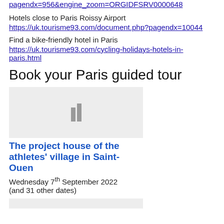pagendx=956&engine_zoom=ORGIDFSRV0000648
Hotels close to Paris Roissy Airport
https://uk.tourisme93.com/document.php?pagendx=10044
Find a bike-friendly hotel in Paris
https://uk.tourisme93.com/cycling-holidays-hotels-in-paris.html
Book your Paris guided tour
[Figure (photo): Grey placeholder image with two small grey rectangles in the center]
The project house of the athletes' village in Saint-Ouen
Wednesday 7th September 2022 (and 31 other dates)
[Figure (photo): Grey placeholder image at the bottom, partially visible]